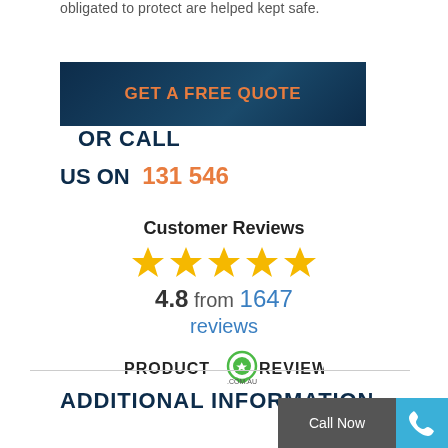obligated to protect are helped kept safe.
GET A FREE QUOTE   OR CALL US ON  131 546
[Figure (infographic): Customer Reviews section showing 5 gold stars, rating 4.8 from 1647 reviews, with ProductReview.com.au logo]
ADDITIONAL INFORMATION